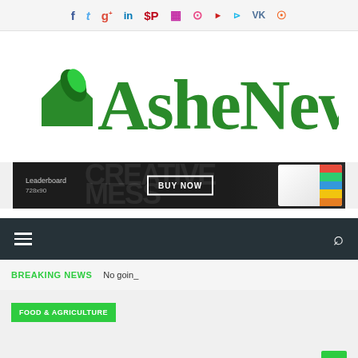Social media icons: f, Twitter, g+, in, Pinterest, Instagram, Dribbble, YouTube, Vimeo, VK, RSS
[Figure (logo): AsheNews logo with green house/leaf icon and gothic-style green text]
[Figure (infographic): Leaderboard 728x90 ad banner with BUY NOW button, creative mess background text, and tablet device image]
[Figure (infographic): Dark navigation bar with hamburger menu icon on left and search icon on right]
BREAKING NEWS   No goin_
FOOD & AGRICULTURE